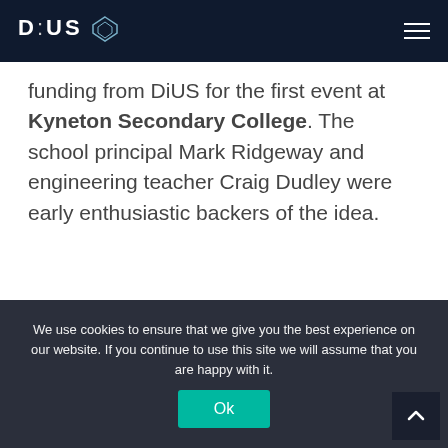DiUS
funding from DiUS for the first event at Kyneton Secondary College. The school principal Mark Ridgeway and engineering teacher Craig Dudley were early enthusiastic backers of the idea.
Pete and I with some of the students from the day
We use cookies to ensure that we give you the best experience on our website. If you continue to use this site we will assume that you are happy with it.